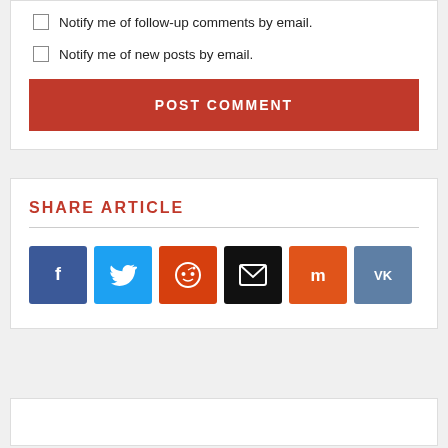Notify me of follow-up comments by email.
Notify me of new posts by email.
POST COMMENT
SHARE ARTICLE
[Figure (infographic): Row of six social share icon buttons: Facebook (blue), Twitter (light blue), Reddit (orange-red), Email (black), Mix (orange), VK (steel blue)]